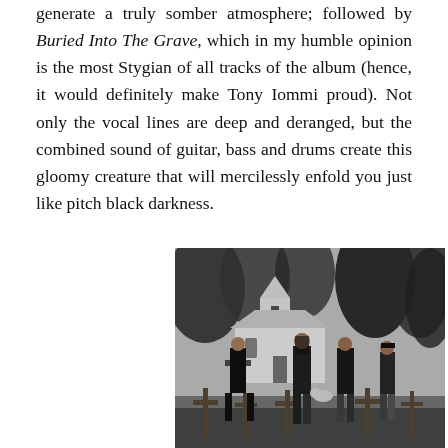generate a truly somber atmosphere; followed by Buried Into The Grave, which in my humble opinion is the most Stygian of all tracks of the album (hence, it would definitely make Tony Iommi proud). Not only the vocal lines are deep and deranged, but the combined sound of guitar, bass and drums create this gloomy creature that will mercilessly enfold you just like pitch black darkness.
[Figure (photo): Black and white photograph of four band members standing outdoors in a cemetery-like setting with wooden crosses in the foreground and a white chapel/mausoleum building in the background surrounded by trees.]